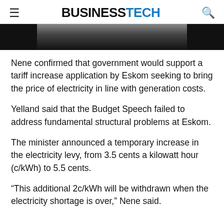BUSINESSTECH
[Figure (photo): Partial cropped photo showing a person in dark clothing against a dark background, only lower portion visible.]
Nene confirmed that government would support a tariff increase application by Eskom seeking to bring the price of electricity in line with generation costs.
Yelland said that the Budget Speech failed to address fundamental structural problems at Eskom.
The minister announced a temporary increase in the electricity levy, from 3.5 cents a kilowatt hour (c/kWh) to 5.5 cents.
“This additional 2c/kWh will be withdrawn when the electricity shortage is over,” Nene said.